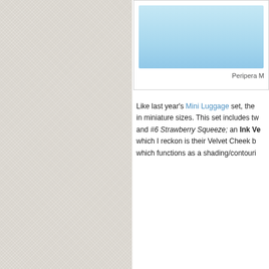[Figure (photo): Light blue/cyan colored product image box for Peripera Mini Luggage set, partially cropped at top]
Peripera M
Like last year's Mini Luggage set, the [product] in miniature sizes. This set includes tw[o shades] and #6 Strawberry Squeeze; an Ink Ve[lvet] which I reckon is their Velvet Cheek b[lush], which functions as a shading/contouri[ng]
[Figure (photo): Korean cosmetics advertisement image with pink swirling background, Korean text reading 페리의 ㄷ (Perry's), 달달 (sweet), product shown is a pink compact/palette from Peripera brand, with a cyan badge at top reading 냉장]